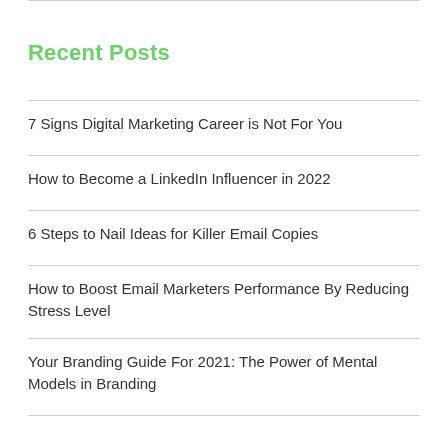Recent Posts
7 Signs Digital Marketing Career is Not For You
How to Become a LinkedIn Influencer in 2022
6 Steps to Nail Ideas for Killer Email Copies
How to Boost Email Marketers Performance By Reducing Stress Level
Your Branding Guide For 2021: The Power of Mental Models in Branding